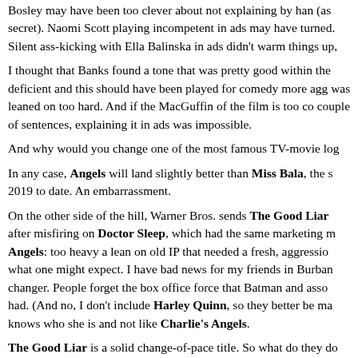Bosley may have been too clever about not explaining by han (as secret). Naomi Scott playing incompetent in ads may have turned. Silent ass-kicking with Ella Balinska in ads didn't warm things up,
I thought that Banks found a tone that was pretty good within the deficient and this should have been played for comedy more agg was leaned on too hard. And if the MacGuffin of the film is too co couple of sentences, explaining it in ads was impossible.
And why would you change one of the most famous TV-movie log
In any case, Angels will land slightly better than Miss Bala, the s 2019 to date. An embarrassment.
On the other side of the hill, Warner Bros. sends The Good Liar after misfiring on Doctor Sleep, which had the same marketing m Angels: too heavy a lean on old IP that needed a fresh, aggressio what one might expect. I have bad news for my friends in Burban changer. People forget the box office force that Batman and asso had. (And no, I don't include Harley Quinn, so they better be ma knows who she is and not like Charlie's Angels.
The Good Liar is a solid change-of-pace title. So what do they d Ferrari in what was the Green Book slot last year. But even them (this weekend) on 25 screens before going to 1,063 for four wee then dropped screens until they got Oscar nominations and went Good Liar is not WB's primary Oscar play, but if you want to thro until the spring, where the competition for adult eyes is not as hys
I really liked Lost Christmas. A piece of pulp that did what it w